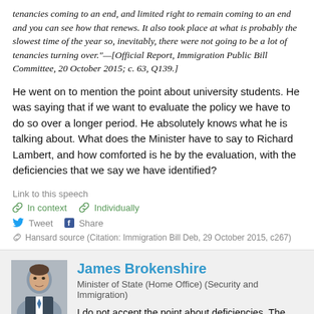tenancies coming to an end, and limited right to remain coming to an end and you can see how that renews. It also took place at what is probably the slowest time of the year so, inevitably, there were not going to be a lot of tenancies turning over."—[Official Report, Immigration Public Bill Committee, 20 October 2015; c. 63, Q139.]
He went on to mention the point about university students. He was saying that if we want to evaluate the policy we have to do so over a longer period. He absolutely knows what he is talking about. What does the Minister have to say to Richard Lambert, and how comforted is he by the evaluation, with the deficiencies that we say we have identified?
Link to this speech
In context   Individually
Tweet   Share
Hansard source (Citation: Immigration Bill Deb, 29 October 2015, c267)
James Brokenshire
Minister of State (Home Office) (Security and Immigration)
I do not accept the point about deficiencies. The evaluation